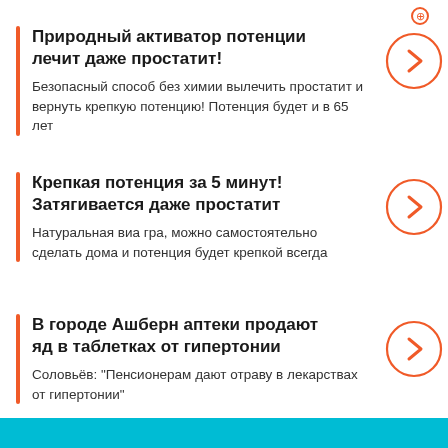[Figure (logo): Small orange icon top right corner]
Природный активатор потенции лечит даже простатит!
Безопасный способ без химии вылечить простатит и вернуть крепкую потенцию! Потенция будет и в 65 лет
Крепкая потенция за 5 минут! Затягивается даже простатит
Натуральная виа гра, можно самостоятельно сделать дома и потенция будет крепкой всегда
В городе Ашберн аптеки продают яд в таблетках от гипертонии
Соловьёв: "Пенсионерам дают отраву в лекарствах от гипертонии"